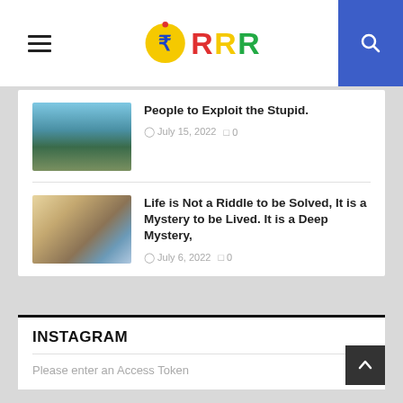RRR website header with hamburger menu, logo, and search icon
People to Exploit the Stupid.
July 15, 2022  0
Life is Not a Riddle to be Solved, It is a Mystery to be Lived. It is a Deep Mystery,
July 6, 2022  0
INSTAGRAM
Please enter an Access Token